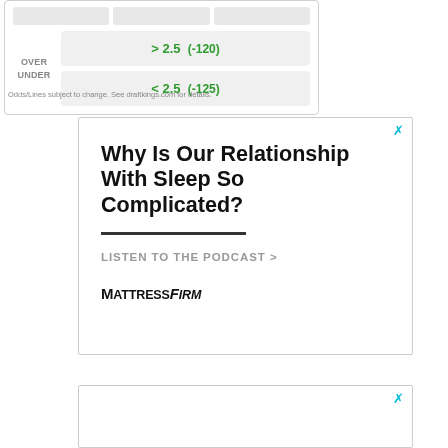| > 2.5 (-120) |
| < 2.5 (-125) |
Odds/Lines subject to change. See draftkings.com for details.
[Figure (infographic): Advertisement for Mattress Firm podcast. Headline: 'Why Is Our Relationship With Sleep So Complicated?' CTA: 'LISTEN TO THE PODCAST >' Brand logo: MATTRESS FIRM]
[Figure (infographic): Second advertisement box, partially visible at bottom of page.]